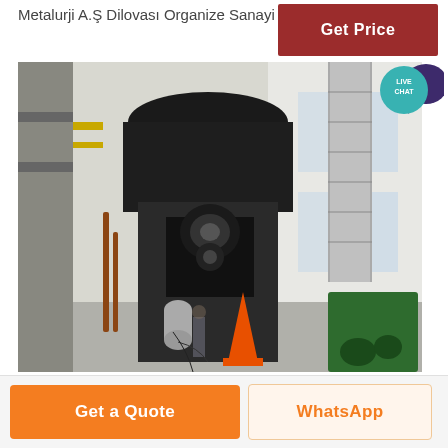Metalurji A.Ş Dilovası Organize Sanayi Bölgesi 1.
[Figure (other): Get Price button — dark red rectangular button with white text]
[Figure (photo): Industrial milling/grinding machinery in a factory — large black vertical mill machine with cylindrical top, drive belt mechanism, hydraulic lines, orange safety cone, silver ventilation duct on right, green machinery in background, bright white industrial building interior]
[Figure (other): Live Chat speech bubble widget — teal circle with LIVE CHAT text and dark purple speech bubble icon]
[Figure (other): Get a Quote orange button]
[Figure (other): WhatsApp light orange button]